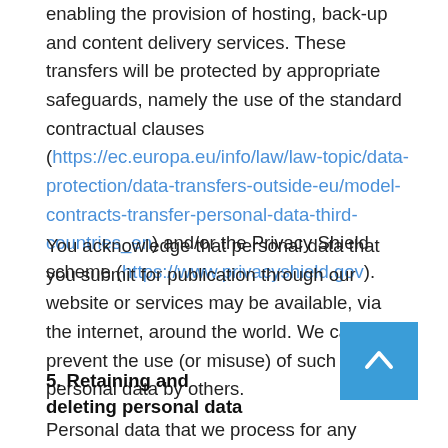enabling the provision of hosting, back-up and content delivery services. These transfers will be protected by appropriate safeguards, namely the use of the standard contractual clauses (https://ec.europa.eu/info/law/law-topic/data-protection/data-transfers-outside-eu/model-contracts-transfer-personal-data-third-countries_en) and/or the Privacy Shield scheme (https://www.privacyshield.gov).
You acknowledge that personal data that you submit for publication through our website or services may be available, via the internet, around the world. We cannot prevent the use (or misuse) of such personal data by others.
5. Retaining and deleting personal data
Personal data that we process for any purpose or